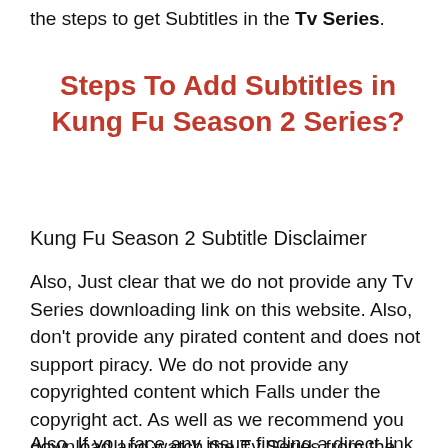the steps to get Subtitles in the Tv Series.
Steps To Add Subtitles in Kung Fu Season 2 Series?
Kung Fu Season 2 Subtitle Disclaimer
Also, Just clear that we do not provide any Tv Series downloading link on this website. Also, don't provide any pirated content and does not support piracy. We do not provide any copyrighted content which Falls under the copyright act. As well as we recommend you download and watch the Tv Series from the legal and original source. In conclusion, Don't watch the pirated copies of the Tv Series.
Also, If you face any issue finding a direct link for Tv Series...